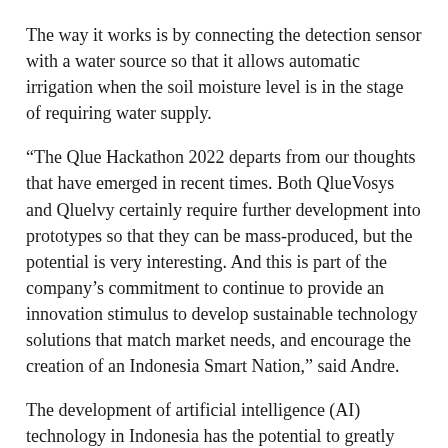The way it works is by connecting the detection sensor with a water source so that it allows automatic irrigation when the soil moisture level is in the stage of requiring water supply.
“The Qlue Hackathon 2022 departs from our thoughts that have emerged in recent times. Both QlueVosys and Qluelvy certainly require further development into prototypes so that they can be mass-produced, but the potential is very interesting. And this is part of the company’s commitment to continue to provide an innovation stimulus to develop sustainable technology solutions that match market needs, and encourage the creation of an Indonesia Smart Nation,” said Andre.
The development of artificial intelligence (AI) technology in Indonesia has the potential to greatly contribute to the Indonesian economy. Based on research conducted by a firm in the United States, Kearney, AI is predicted to contribute up to US$366 billion or equivalent to Rp5,200 trillion by 2030. (N-1)